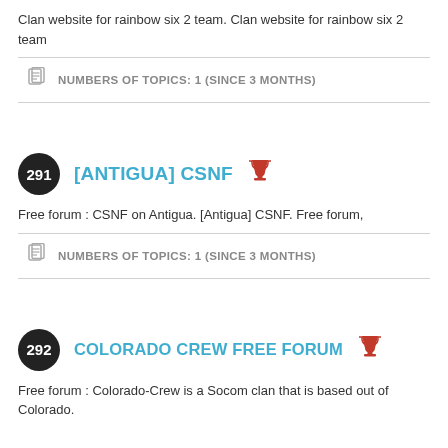Clan website for rainbow six 2 team. Clan website for rainbow six 2 team
NUMBERS OF TOPICS: 1 (SINCE 3 MONTHS)
291 [ANTIGUA] CSNF
Free forum : CSNF on Antigua. [Antigua] CSNF. Free forum,
NUMBERS OF TOPICS: 1 (SINCE 3 MONTHS)
292 COLORADO CREW FREE FORUM
Free forum : Colorado-Crew is a Socom clan that is based out of Colorado.